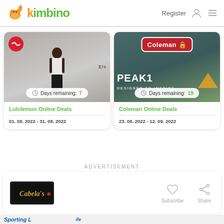kimbino Register
[Figure (photo): Lululemon ad showing a model in white crop top with Lululemon logo, price tag $74, Days remaining: 7]
Lululemon Online Deals
01. 08. 2022 - 31. 08. 2022
[Figure (photo): Coleman PEAK1 outdoor gear ad with text DESIGNED TO INSPIRE, Days remaining: 19]
Coleman Online Deals
23. 08. 2022 - 12. 09. 2022
ADVERTISEMENT
[Figure (logo): Cabela's logo]
Subscribe
Share